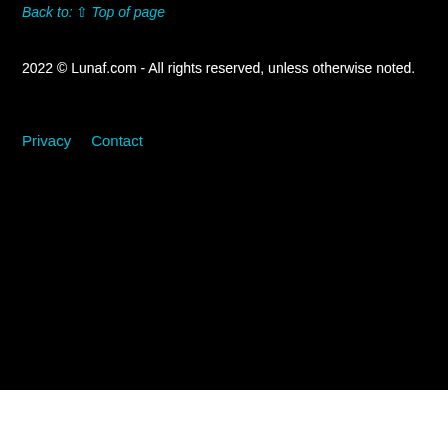Back to: ↑ Top of page
2022 © Lunaf.com - All rights reserved, unless otherwise noted.
Privacy   Contact